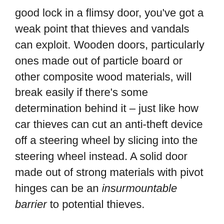good lock in a flimsy door, you've got a weak point that thieves and vandals can exploit. Wooden doors, particularly ones made out of particle board or other composite wood materials, will break easily if there's some determination behind it – just like how car thieves can cut an anti-theft device off a steering wheel by slicing into the steering wheel instead. A solid door made out of strong materials with pivot hinges can be an insurmountable barrier to potential thieves.
What's Happening When You're Not There?
A single camera at the register is a good place to start, but the more areas of your store you have